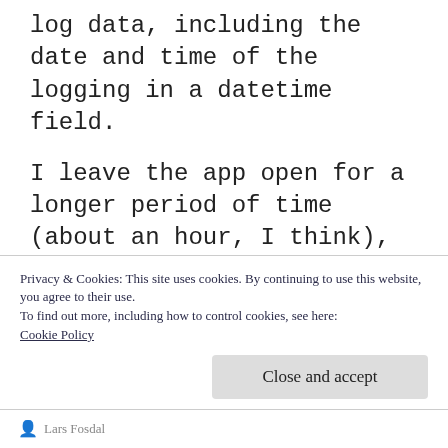log data, including the date and time of the logging in a datetime field.
I leave the app open for a longer period of time (about an hour, I think), then I refresh the view.
BAM! The dates show up as 1899.  For some reason, FireDAC has decided to forget how to get the datetime in the right format.
I suspect that is is related to a connection object that has lost it’s connection, but why can
Privacy & Cookies: This site uses cookies. By continuing to use this website, you agree to their use.
To find out more, including how to control cookies, see here:
Cookie Policy
Close and accept
Lars Fosdal